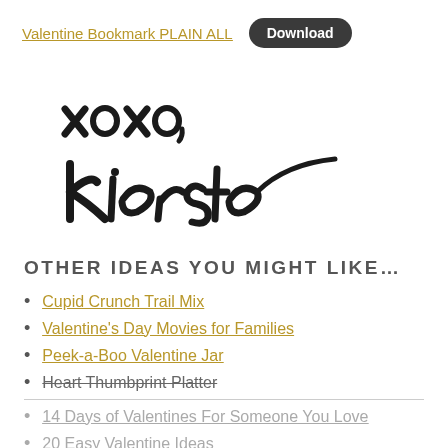Valentine Bookmark PLAIN ALL  Download
[Figure (illustration): Handwritten script signature reading 'xoxo, kierste' in large brush lettering]
OTHER IDEAS YOU MIGHT LIKE...
Cupid Crunch Trail Mix
Valentine's Day Movies for Families
Peek-a-Boo Valentine Jar
Heart Thumbprint Platter
14 Days of Valentines For Someone You Love
20 Easy Valentine Ideas